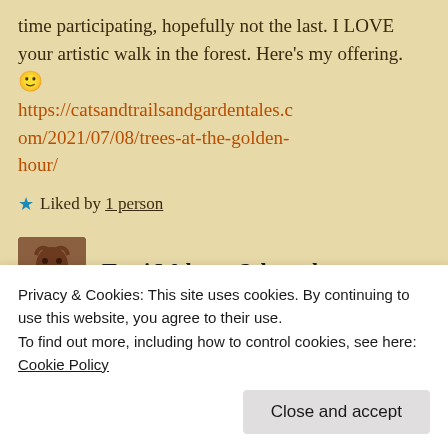time participating, hopefully not the last. I LOVE your artistic walk in the forest. Here's my offering. 🙂 https://catsandtrailsandgardentales.com/2021/07/08/trees-at-the-golden-hour/
★ Liked by 1 person
Terri Webster Schrandt
Privacy & Cookies: This site uses cookies. By continuing to use this website, you agree to their use.
To find out more, including how to control cookies, see here: Cookie Policy
Close and accept